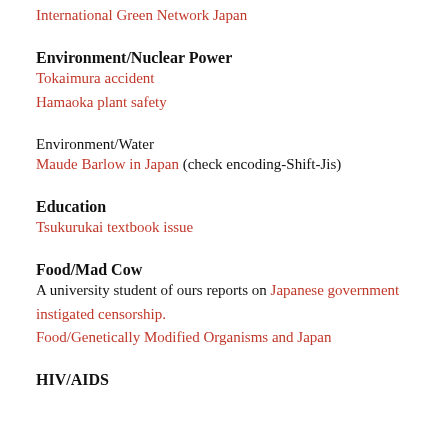International Green Network Japan
Environment/Nuclear Power
Tokaimura accident
Hamaoka plant safety
Environment/Water
Maude Barlow in Japan (check encoding-Shift-Jis)
Education
Tsukurukai textbook issue
Food/Mad Cow
A university student of ours reports on Japanese government instigated censorship.
Food/Genetically Modified Organisms and Japan
HIV/AIDS